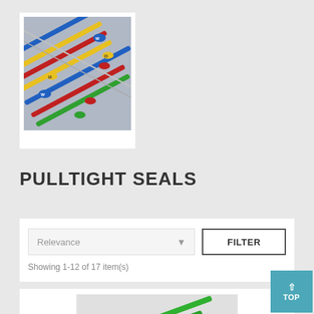[Figure (photo): Photo of colorful pulltight security seals (blue, red, yellow, green) arranged diagonally on a gray surface.]
PULLTIGHT SEALS
Relevance
FILTER
Showing 1-12 of 17 item(s)
[Figure (photo): Partial view of a product image showing green security seals on a light gray background.]